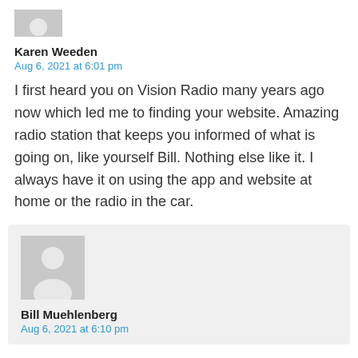[Figure (illustration): Gray avatar placeholder icon (partial, top of page)]
Karen Weeden
Aug 6, 2021 at 6:01 pm
I first heard you on Vision Radio many years ago now which led me to finding your website. Amazing radio station that keeps you informed of what is going on, like yourself Bill. Nothing else like it. I always have it on using the app and website at home or the radio in the car.
[Figure (illustration): Gray avatar placeholder icon for Bill Muehlenberg]
Bill Muehlenberg
Aug 6, 2021 at 6:10 pm